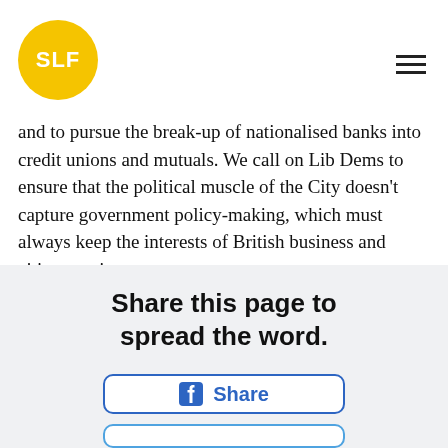SLF
and to pursue the break-up of nationalised banks into credit unions and mutuals. We call on Lib Dems to ensure that the political muscle of the City doesn't capture government policy-making, which must always keep the interests of British business and citizens at its core.
Share this page to spread the word.
[Figure (other): Facebook Share button with Facebook icon and 'Share' text, blue outlined rounded rectangle button]
[Figure (other): Partial view of another share button (Twitter/other), blue outlined rounded rectangle, cropped at bottom of page]